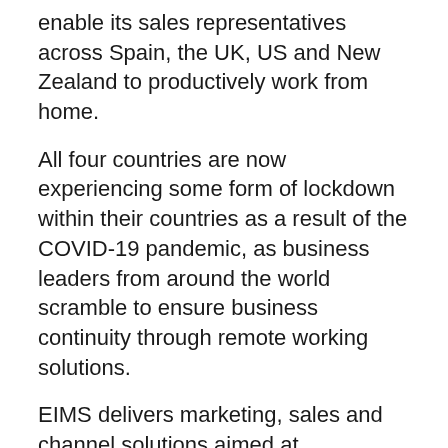enable its sales representatives across Spain, the UK, US and New Zealand to productively work from home.
All four countries are now experiencing some form of lockdown within their countries as a result of the COVID-19 pandemic, as business leaders from around the world scramble to ensure business continuity through remote working solutions.
EIMS delivers marketing, sales and channel solutions aimed at technology companies looking to grow their revenues.
Following the Spanish government’s state of emergency and mandatory lockdown due to the COVID-19 pandemic, EIMS needed to find a solution for its team in Barcelona that minimised business disruption and allowed employees new to remote working to remain productive.